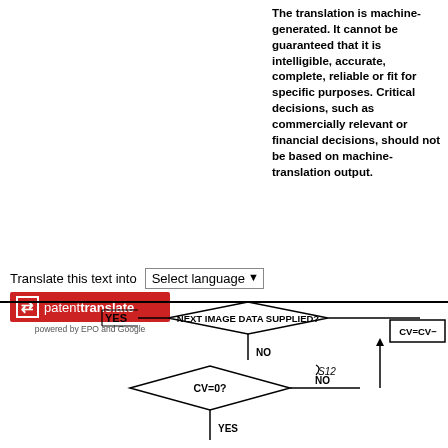The translation is machine-generated. It cannot be guaranteed that it is intelligible, accurate, complete, reliable or fit for specific purposes. Critical decisions, such as commercially relevant or financial decisions, should not be based on machine-translation output.
Translate this text into
[Figure (screenshot): Patent Translate button/badge with red background showing arrows icon and 'patenttranslate' text, with 'powered by EPO and Google' subtitle]
[Figure (flowchart): Partial flowchart showing diamond decision shapes. Top diamond: 'NEXT IMAGE DATA SUPPLIED?' with YES branch going left and NO branch going down to another diamond labeled 'CV=0?' with S12 label, with YES branch going down and NO branch going right to a box labeled 'CV=CV-']